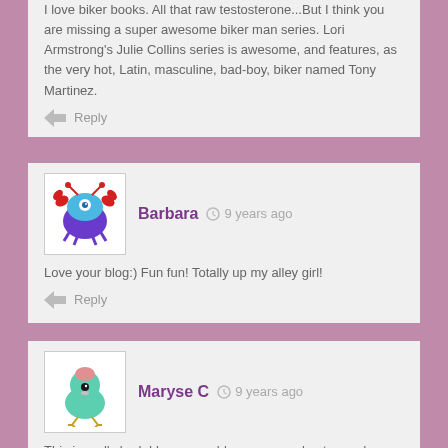I love biker books. All that raw testosterone…But I think you are missing a super awesome biker man series. Lori Armstrong's Julie Collins series is awesome, and features, as the very hot, Latin, masculine, bad-boy, biker named Tony Martinez.
Reply
Barbara  9 years ago
Love your blog:) Fun fun! Totally up my alley girl!
Reply
Maryse C  9 years ago
This is really bad. I have your blog up on my lap top and